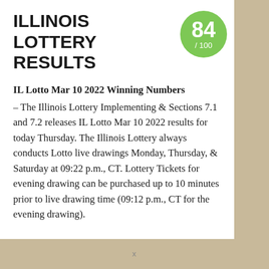ILLINOIS LOTTERY RESULTS
[Figure (other): Green circle badge showing score 84 / 100]
IL Lotto Mar 10 2022 Winning Numbers
– The Illinois Lottery Implementing & Sections 7.1 and 7.2 releases IL Lotto Mar 10 2022 results for today Thursday. The Illinois Lottery always conducts Lotto live drawings Monday, Thursday, & Saturday at 09:22 p.m., CT. Lottery Tickets for evening drawing can be purchased up to 10 minutes prior to live drawing time (09:12 p.m., CT for the evening drawing).